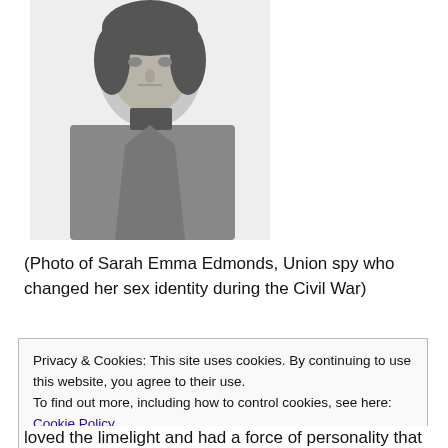[Figure (photo): Black and white photograph of Sarah Emma Edmonds, shown from the waist up wearing a Union military uniform with buttons down the front and a high collar.]
(Photo of Sarah Emma Edmonds, Union spy who changed her sex identity during the Civil War)
Privacy & Cookies: This site uses cookies. By continuing to use this website, you agree to their use.
To find out more, including how to control cookies, see here: Cookie Policy
Close and accept
loved the limelight and had a force of personality that